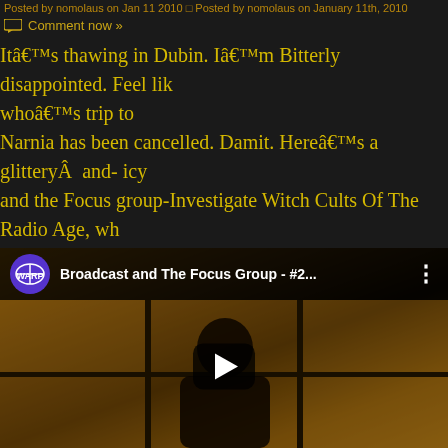Posted by nomolaus on Jan 11 2010 — Posted by nomolaus on January 11th, 2010
Comment now »
Itâ€™s thawing in Dubin. Iâ€™m Bitterly disappointed. Feel like whoâ€™s trip to Narnia has been cancelled. Damit. Hereâ€™s a glitteryÂ  and- icy and the Focus group-Investigate Witch Cults Of The Radio Age, wh many as album of the year. English psych folk has limited appeal t not,Â  but this is a catchy and timely ditty.(eer, had put the wrong one
[Figure (screenshot): Embedded YouTube video player showing 'Broadcast and The Focus Group - #2...' with a dark thumbnail showing a silhouette against a warm amber/orange background with window panes visible. A purple circular channel logo (WARP records) is shown in the top bar alongside the video title and a more options (⋮) button. A play button is centered on the thumbnail.]